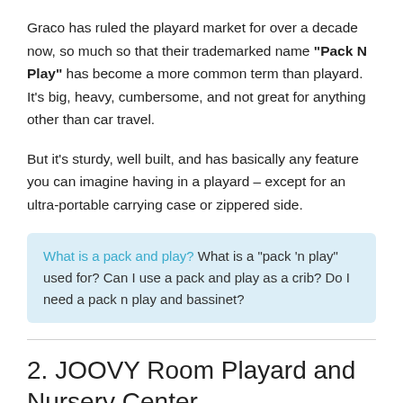Graco has ruled the playard market for over a decade now, so much so that their trademarked name "Pack N Play" has become a more common term than playard. It's big, heavy, cumbersome, and not great for anything other than car travel.
But it's sturdy, well built, and has basically any feature you can imagine having in a playard – except for an ultra-portable carrying case or zippered side.
What is a pack and play? What is a "pack 'n play" used for? Can I use a pack and play as a crib? Do I need a pack n play and bassinet?
2. JOOVY Room Playard and Nursery Center